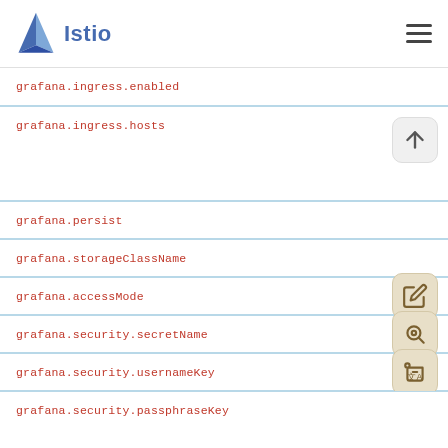Istio
grafana.ingress.enabled
grafana.ingress.hosts
grafana.persist
grafana.storageClassName
grafana.accessMode
grafana.security.secretName
grafana.security.usernameKey
grafana.security.passphraseKey